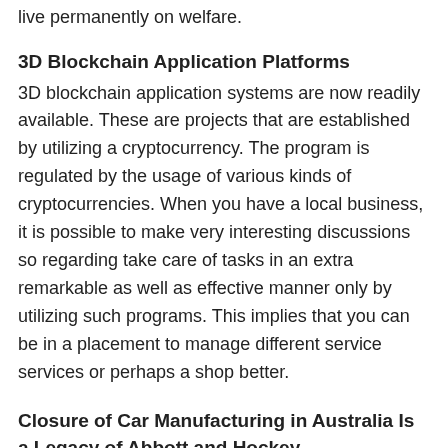live permanently on welfare.
3D Blockchain Application Platforms
3D blockchain application systems are now readily available. These are projects that are established by utilizing a cryptocurrency. The program is regulated by the usage of various kinds of cryptocurrencies. When you have a local business, it is possible to make very interesting discussions so regarding take care of tasks in an extra remarkable as well as effective manner only by utilizing such programs. This implies that you can be in a placement to manage different service services or perhaps a shop better.
Closure of Car Manufacturing in Australia Is a Legacy of Abbott and Hockey
Many in this country held their breath when the decision was made by the Federal Abbott/Hockey government not to offer